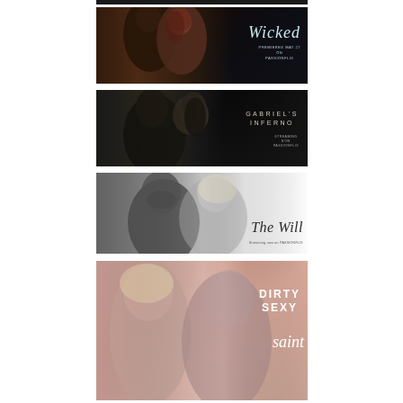[Figure (photo): Movie/show promotional banner for 'Wicked' - dark romantic image of a man and woman in close embrace against dark forest background, title 'Wicked' in italic script with subtitle text and PASSIONFLIX branding]
[Figure (photo): Movie/show promotional banner for 'Gabriel's Inferno' - dark moody close-up of couple about to kiss, title 'GABRIEL'S INFERNO' in spaced uppercase letters with streaming info and PASSIONFLIX branding]
[Figure (photo): Movie/show promotional banner for 'The Will' - light/white toned close-up of couple facing each other, title 'The Will' in elegant italic font with 'Streaming now on PASSIONFLIX' subtitle]
[Figure (photo): Movie/show promotional banner for 'Dirty Sexy Saint' - warm rose-toned close-up of blonde woman and man facing each other, title 'DIRTY SEXY saint' in bold uppercase with italic script for 'saint']